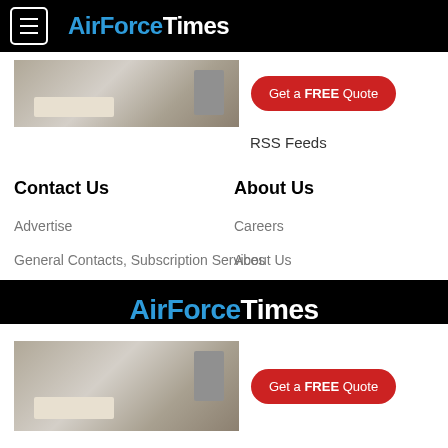AirForceTimes
[Figure (photo): Kitchen interior advertisement image with a red 'Get a FREE Quote' button]
RSS Feeds
Contact Us
About Us
Advertise
Careers
General Contacts, Subscription Services
About Us
Editorial Staff
Jobs for Veterans
AirForceTimes
[Figure (photo): Kitchen interior advertisement image with a red 'Get a FREE Quote' button]